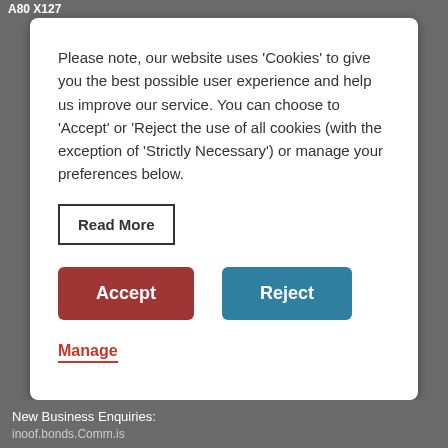A80 X127
Please note, our website uses 'Cookies' to give you the best possible user experience and help us improve our service. You can choose to 'Accept' or 'Reject the use of all cookies (with the exception of 'Strictly Necessary') or manage your preferences below.
Read More
Accept
Reject
Manage
New Business Enquiries: